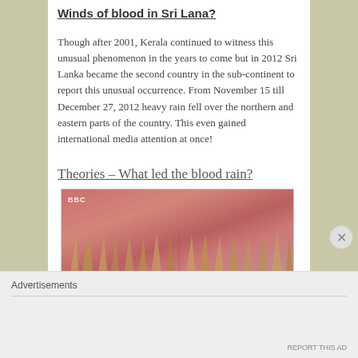Winds of blood in Sri Lana?
Though after 2001, Kerala continued to witness this unusual phenomenon in the years to come but in 2012 Sri Lanka became the second country in the sub-continent to report this unusual occurrence. From November 15 till December 27, 2012 heavy rain fell over the northern and eastern parts of the country. This even gained international media attention at once!
Theories – What led the blood rain?
[Figure (photo): A reddish-hued BBC footage screenshot showing wind-blown grass or reeds against a pink-red sky, split into two panel views side by side]
Advertisements
REPORT THIS AD